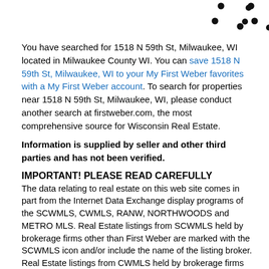[Figure (other): Decorative dots/bullet points arranged in a scattered pattern near the top of the page]
You have searched for 1518 N 59th St, Milwaukee, WI located in Milwaukee County WI. You can save 1518 N 59th St, Milwaukee, WI to your My First Weber favorites with a My First Weber account. To search for properties near 1518 N 59th St, Milwaukee, WI, please conduct another search at firstweber.com, the most comprehensive source for Wisconsin Real Estate.
Information is supplied by seller and other third parties and has not been verified.
IMPORTANT! PLEASE READ CAREFULLY
The data relating to real estate on this web site comes in part from the Internet Data Exchange display programs of the SCWMLS, CWMLS, RANW, NORTHWOODS and METRO MLS. Real Estate listings from SCWMLS held by brokerage firms other than First Weber are marked with the SCWMLS icon and/or include the name of the listing broker. Real Estate listings from CWMLS held by brokerage firms other than First Weber are marked with the CWMLS icon and/or include the name or the listing broker. Real Estate listings from METRO MLS held by brokerage firms other than First Weber include the name of the listing broker.